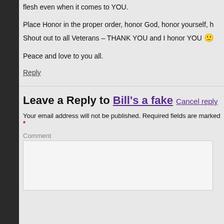flesh even when it comes to YOU.
Place Honor in the proper order, honor God, honor yourself, h
Shout out to all Veterans – THANK YOU and I honor YOU 🙂
Peace and love to you all.
Reply
Leave a Reply to Bill's a fake   Cancel reply
Your email address will not be published. Required fields are marked *
Comment